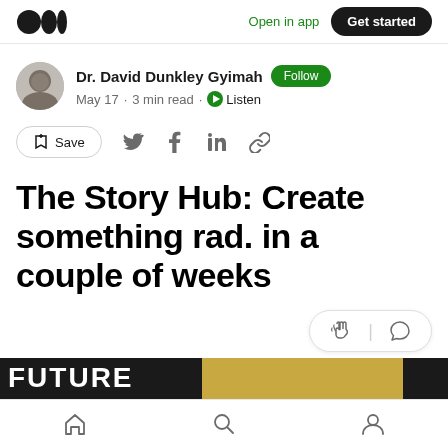Open in app  Get started
Dr. David Dunkley Gyimah  Follow
May 17 · 3 min read · Listen
Save
The Story Hub: Create something rad. in a couple of weeks
Home  Search  Profile